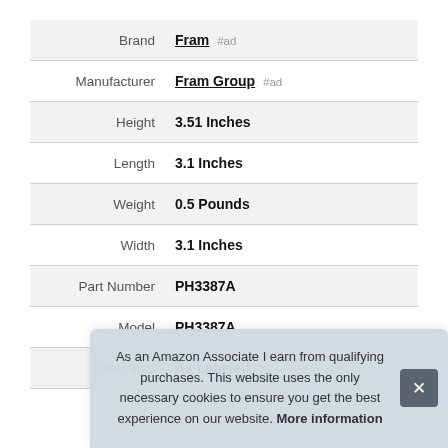| Attribute | Value |
| --- | --- |
| Brand | Fram #ad |
| Manufacturer | Fram Group #ad |
| Height | 3.51 Inches |
| Length | 3.1 Inches |
| Weight | 0.5 Pounds |
| Width | 3.1 Inches |
| Part Number | PH3387A |
| Model | PH3387A |
| Warranty | As Labeled |
As an Amazon Associate I earn from qualifying purchases. This website uses the only necessary cookies to ensure you get the best experience on our website. More information